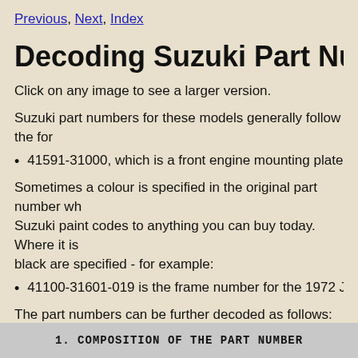Previous, Next, Index
Decoding Suzuki Part Numbers
Click on any image to see a larger version.
Suzuki part numbers for these models generally follow the form…
41591-31000, which is a front engine mounting plate
Sometimes a colour is specified in the original part number wh… Suzuki paint codes to anything you can buy today. Where it is … black are specified - for example:
41100-31601-019 is the frame number for the 1972 J se…
The part numbers can be further decoded as follows:
[Figure (table-as-image): Table header: 1. COMPOSITION OF THE PART NUMBER]